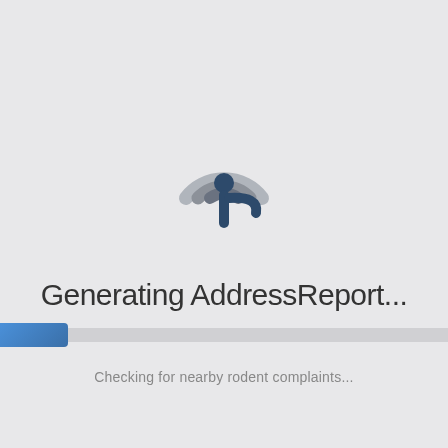[Figure (logo): A stylized location pin / signal icon with concentric arcs in gray and a dark navy teardrop pin shape in the center-right]
Generating AddressReport...
Checking for nearby rodent complaints...